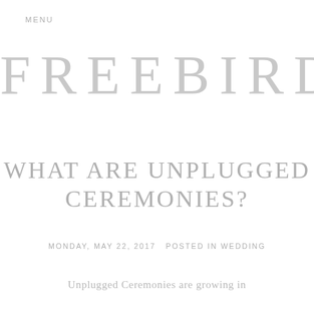MENU
FREEBIRD
WHAT ARE UNPLUGGED CEREMONIES?
MONDAY, MAY 22, 2017   POSTED IN WEDDING
Unplugged Ceremonies are growing in